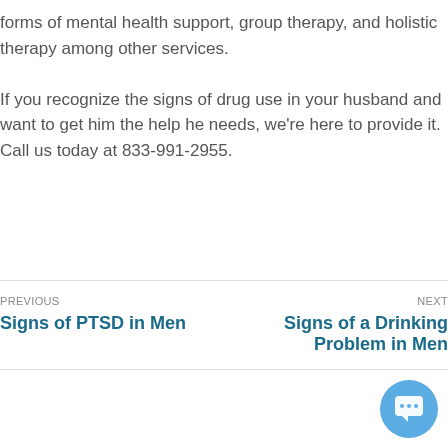forms of mental health support, group therapy, and holistic therapy among other services.
If you recognize the signs of drug use in your husband and want to get him the help he needs, we're here to provide it. Call us today at 833-991-2955.
PREVIOUS: Signs of PTSD in Men | NEXT: Signs of a Drinking Problem in Men